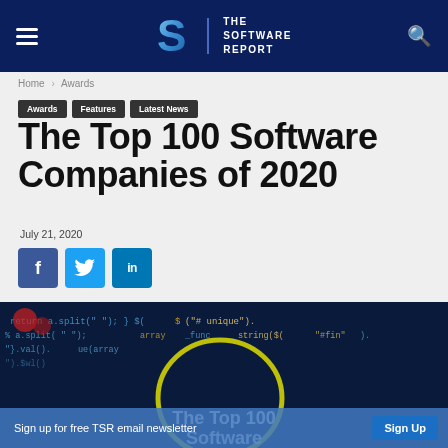THE SOFTWARE REPORT
Home › Awards
Awards
Features
Latest News
The Top 100 Software Companies of 2020
July 21, 2020
[Figure (screenshot): Code background image showing JavaScript/programming code with blue overlay, with text 'The Top 100 Software Companies' overlaid at bottom]
Sign up for free TSR email newsletter